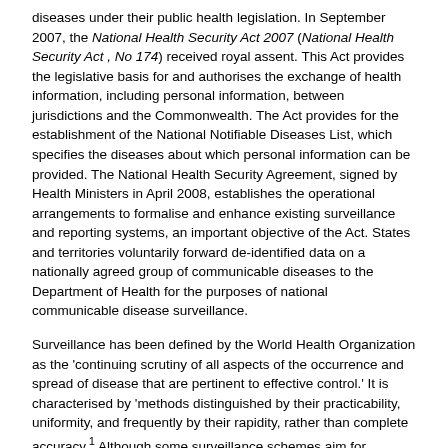diseases under their public health legislation. In September 2007, the National Health Security Act 2007 (National Health Security Act , No 174) received royal assent. This Act provides the legislative basis for and authorises the exchange of health information, including personal information, between jurisdictions and the Commonwealth. The Act provides for the establishment of the National Notifiable Diseases List, which specifies the diseases about which personal information can be provided. The National Health Security Agreement, signed by Health Ministers in April 2008, establishes the operational arrangements to formalise and enhance existing surveillance and reporting systems, an important objective of the Act. States and territories voluntarily forward de-identified data on a nationally agreed group of communicable diseases to the Department of Health for the purposes of national communicable disease surveillance.
Surveillance has been defined by the World Health Organization as the 'continuing scrutiny of all aspects of the occurrence and spread of disease that are pertinent to effective control.' It is characterised by 'methods distinguished by their practicability, uniformity, and frequently by their rapidity, rather than complete accuracy.1 Although some surveillance schemes aim for complete case ascertainment, others include only a proportion of all cases of the conditions under surveillance, and these samples are subject to systematic and other biases. Results generated from surveillance schemes must be interpreted with caution, particularly when comparing results